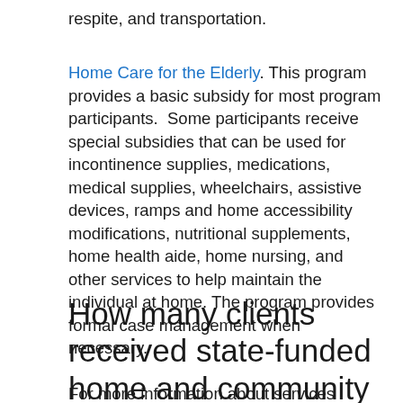respite, and transportation.
Home Care for the Elderly. This program provides a basic subsidy for most program participants. Some participants receive special subsidies that can be used for incontinence supplies, medications, medical supplies, wheelchairs, assistive devices, ramps and home accessibility modifications, nutritional supplements, home health aide, home nursing, and other services to help maintain the individual at home. The program provides formal case management when necessary.
For more information about services provided by the ADI, CCE, and HCE programs, please see the department's Summary of Programs and Services.
How many clients received state-funded home and community